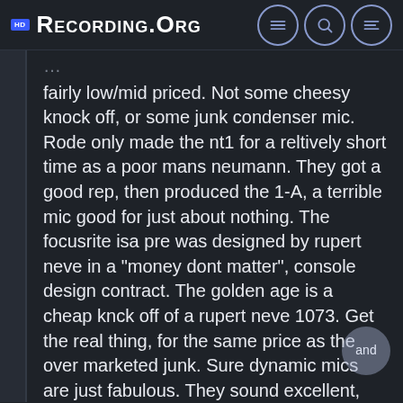Recording.org
fairly low/mid priced. Not some cheesy knock off, or some junk condenser mic. Rode only made the nt1 for a reltively short time as a poor mans neumann. They got a good rep, then produced the 1-A, a terrible mic good for just about nothing. The focusrite isa pre was designed by rupert neve in a "money dont matter", console design contract. The golden age is a cheap knck off of a rupert neve 1073. Get the real thing, for the same price as the over marketed junk. Sure dynamic mics are just fabulous. They sound excellent, take eq and compression well, and are forgiving to non perfect rooms.